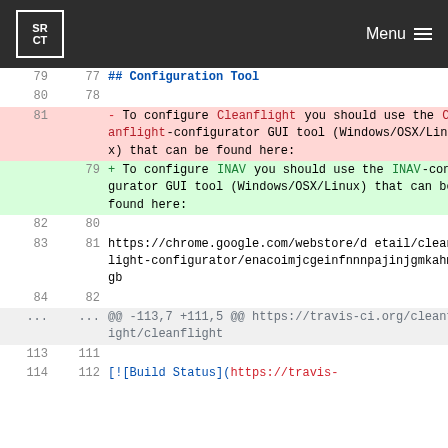SRCT | Menu
| old_ln | new_ln | code |
| --- | --- | --- |
| 79 | 77 | ## Configuration Tool |
| 80 | 78 |  |
| 81 |  | - To configure Cleanflight you should use the Cleanflight-configurator GUI tool (Windows/OSX/Linux) that can be found here: |
|  | 79 | + To configure INAV you should use the INAV-configurator GUI tool (Windows/OSX/Linux) that can be found here: |
| 82 | 80 |  |
| 83 | 81 | https://chrome.google.com/webstore/detail/cleanflight-configurator/enacoimjcgeinfnnnpajinjgmkahmfgb |
| 84 | 82 |  |
| ... | ... | @@ -113,7 +111,5 @@ https://travis-ci.org/cleanflight/cleanflight |
| 113 | 111 |  |
| 114 | 112 | [![Build Status](https://travis- |